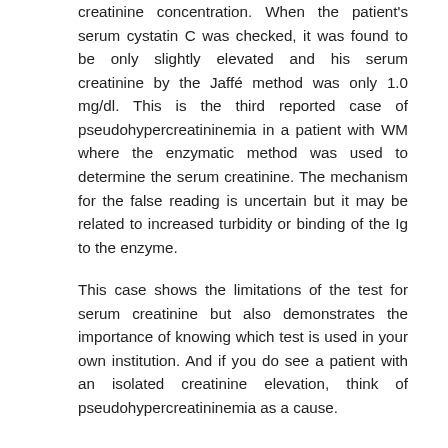creatinine concentration. When the patient's serum cystatin C was checked, it was found to be only slightly elevated and his serum creatinine by the Jaffé method was only 1.0 mg/dl. This is the third reported case of pseudohypercreatininemia in a patient with WM where the enzymatic method was used to determine the serum creatinine. The mechanism for the false reading is uncertain but it may be related to increased turbidity or binding of the Ig to the enzyme.
This case shows the limitations of the test for serum creatinine but also demonstrates the importance of knowing which test is used in your own institution. And if you do see a patient with an isolated creatinine elevation, think of pseudohypercreatininemia as a cause.